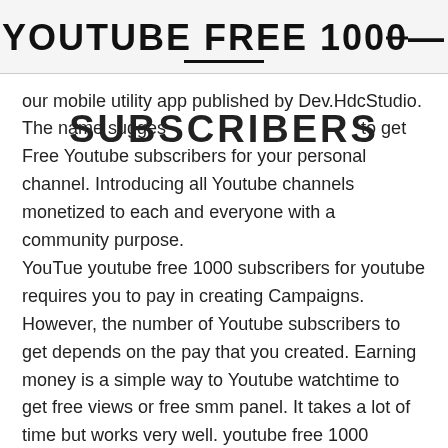YOUTUBE FREE 1000 SUBSCRIBERS
our mobile utility app published by Dev.HdcStudio. The name suggests users to get Free Youtube subscribers for your personal channel. Introducing all Youtube channels monetized to each and everyone with a community purpose.
YouTue youtube free 1000 subscribers for youtube requires you to pay in creating Campaigns. However, the number of Youtube subscribers to get depends on the pay that you created. Earning money is a simple way to Youtube watchtime to get free views or free smm panel. It takes a lot of time but works very well. youtube free 1000 subscribers app is a third-party platform, with the security purpose to share your personal information.
Sub4sSUb app is true to connecting Youtubers so